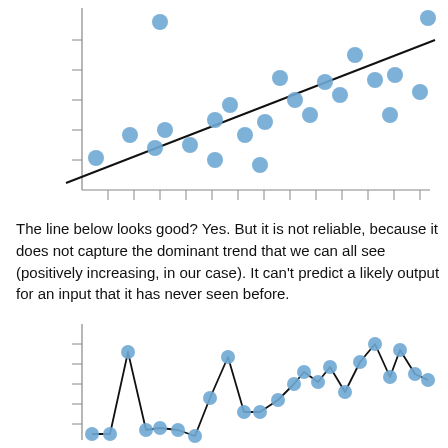[Figure (continuous-plot): Scatter plot with blue dots and a positively-sloped linear regression line. Approximately 22 data points scattered around the line, showing a positive trend. Y-axis has tick marks on the left, X-axis has tick marks on the bottom.]
The line below looks good? Yes. But it is not reliable, because it does not capture the dominant trend that we can all see (positively increasing, in our case). It can't predict a likely output for an input that it has never seen before.
[Figure (continuous-plot): Line chart with blue dots connected by black lines. Approximately 22 data points forming a jagged line that generally trends upward. Y-axis has tick marks on the left, no X-axis labels visible.]